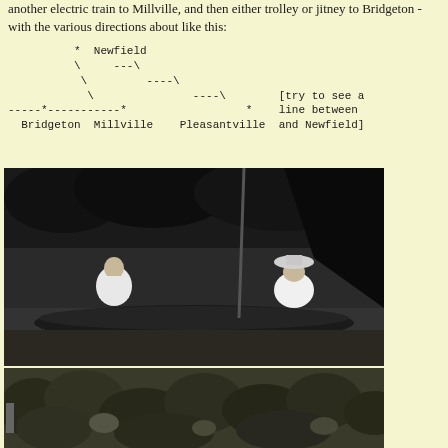another electric train to Millville, and then either trolley or jitney to Bridgeton - with the various directions about like this:
[Figure (other): ASCII diagram showing train route connections between Newfield, Pleasantville, Millville, and Bridgeton with dashed lines. Annotation: [try to see a line between and Newfield]]
[Figure (photo): Black and white photograph of two people in a canoe on water, surrounded by trees. A man is in the front and a woman wearing a hat is in the back.]
[Figure (photo): Black and white photograph showing dense foliage or vegetation, partially cropped at bottom of page.]